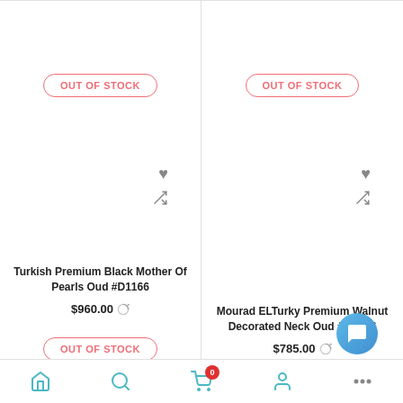[Figure (screenshot): Top-left product card partial view showing OUT OF STOCK button]
OUT OF STOCK
[Figure (screenshot): Top-right product card partial view showing OUT OF STOCK button]
OUT OF STOCK
Turkish Premium Black Mother Of Pearls Oud #D1166
$960.00
OUT OF STOCK
Mourad ELTurky Premium Walnut Decorated Neck Oud #M1166
$785.00